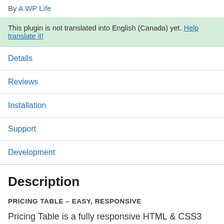By A WP Life
This plugin is not translated into English (Canada) yet. Help translate it!
Details
Reviews
Installation
Support
Development
Description
PRICING TABLE – EASY, RESPONSIVE
Pricing Table is a fully responsive HTML & CSS3 WordPress plugin.